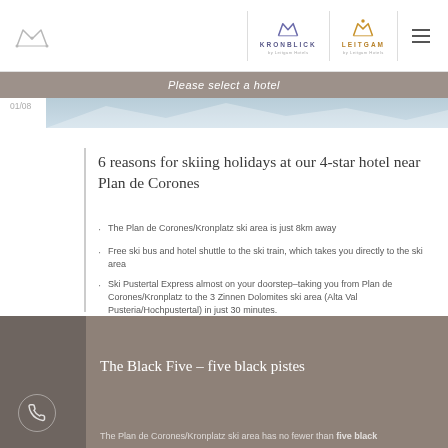Kronblick | Leitgam — Please select a hotel
01/08
6 reasons for skiing holidays at our 4-star hotel near Plan de Corones
The Plan de Corones/Kronplatz ski area is just 8km away
Free ski bus and hotel shuttle to the ski train, which takes you directly to the ski area
Ski Pustertal Express almost on your doorstep–taking you from Plan de Corones/Kronplatz to the 3 Zinnen Dolomites ski area (Alta Val Pusteria/Hochpustertal) in just 30 minutes.
READ MORE
The Black Five – five black pistes
The Plan de Corones/Kronplatz ski area has no fewer than five black pistes